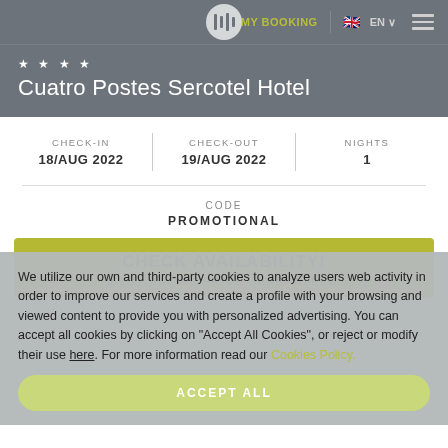MY BOOKING | EN | navigation menu
★ ★ ★ ★
Cuatro Postes Sercotel Hotel
| CHECK-IN | CHECK-OUT | NIGHTS |
| --- | --- | --- |
| 18/AUG 2022 | 19/AUG 2022 | 1 |
CODE
PROMOTIONAL
CHECK AVAILABILITY!
BEST ONLINE PRICE GUARANTEED
We utilize our own and third-party cookies to analyze users web activity in order to improve our services and create a profile with your browsing and viewed content to provide you with personalized advertising. You can accept all cookies by clicking on "Accept All Cookies", or reject or modify their use here. For more information read our Cookies Policy.
ACCEPT ALL